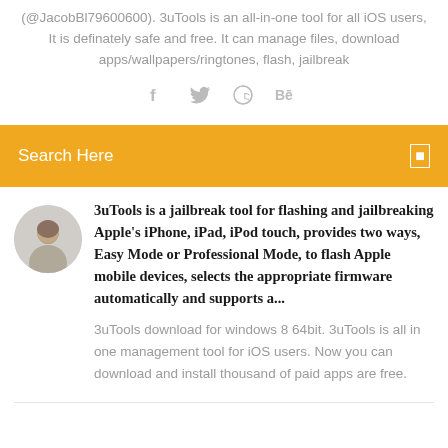(@JacobBl79600600). 3uTools is an all-in-one tool for all iOS users, It is definately safe and free. It can manage files, download apps/wallpapers/ringtones, flash, jailbreak
[Figure (infographic): Social media icons: Facebook (f), Twitter bird, Dribbble, Behance]
Search Here
3uTools is a jailbreak tool for flashing and jailbreaking Apple's iPhone, iPad, iPod touch, provides two ways, Easy Mode or Professional Mode, to flash Apple mobile devices, selects the appropriate firmware automatically and supports a...
3uTools download for windows 8 64bit. 3uTools is all in one management tool for iOS users. Now you can download and install thousand of paid apps are free.